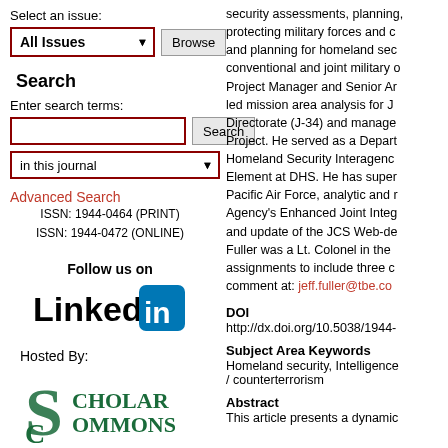Select an issue:
All Issues  Browse
Search
Enter search terms:
in this journal
Advanced Search
ISSN: 1944-0464 (PRINT)
ISSN: 1944-0472 (ONLINE)
Follow us on
[Figure (logo): LinkedIn logo with blue square icon and 'Linked in' text]
Hosted By:
[Figure (logo): Scholar Commons logo in dark green serif font]
security assessments, planning, protecting military forces and c and planning for homeland sec conventional and joint military Project Manager and Senior Ar led mission area analysis for J Directorate (J-34) and manage Project. He served as a Depart Homeland Security Interagenc Element at DHS. He has super Pacific Air Force, analytic and Agency's Enhanced Joint Integ and update of the JCS Web-de Fuller was a Lt. Colonel in the assignments to include three c comment at: jeff.fuller@tbe.com
DOI
http://dx.doi.org/10.5038/1944-
Subject Area Keywords
Homeland security, Intelligence / counterterrorism
Abstract
This article presents a dynamic